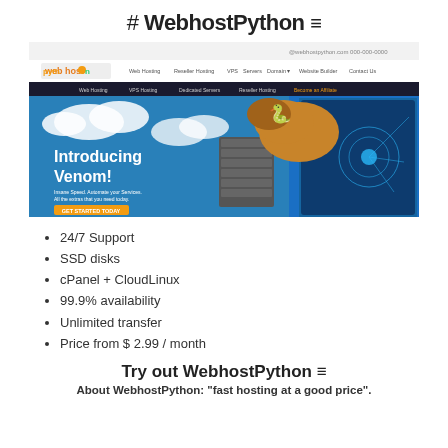# WebhostPython ≡
[Figure (screenshot): Screenshot of WebhostPython website showing the homepage with 'Introducing Venom!' banner, snake image, server hardware, laptop, navigation menu with Web Hosting, Reseller Hosting, VPS, Servers, Domains, Website Builder, Contact Us, and a yellow GET STARTED TODAY button on a blue background with clouds.]
24/7 Support
SSD disks
cPanel + CloudLinux
99.9% availability
Unlimited transfer
Price from $ 2.99 / month
Try out WebhostPython ≡
About WebhostPython: "fast hosting at a good price".